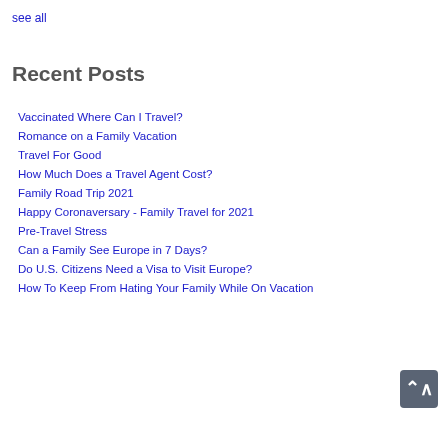see all
Recent Posts
Vaccinated Where Can I Travel?
Romance on a Family Vacation
Travel For Good
How Much Does a Travel Agent Cost?
Family Road Trip 2021
Happy Coronaversary - Family Travel for 2021
Pre-Travel Stress
Can a Family See Europe in 7 Days?
Do U.S. Citizens Need a Visa to Visit Europe?
How To Keep From Hating Your Family While On Vacation